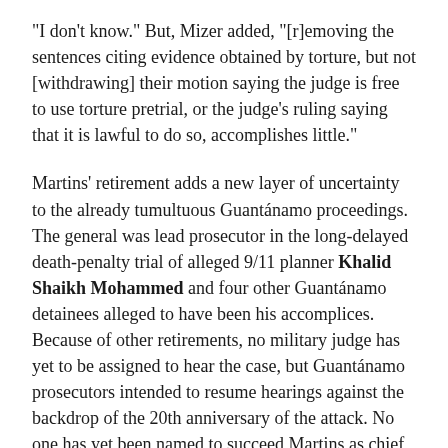“I don’t know.” But, Mizer added, “[r]emoving the sentences citing evidence obtained by torture, but not [withdrawing] their motion saying the judge is free to use torture pretrial, or the judge’s ruling saying that it is lawful to do so, accomplishes little.”
Martins’ retirement adds a new layer of uncertainty to the already tumultuous Guantánamo proceedings. The general was lead prosecutor in the long-delayed death-penalty trial of alleged 9/11 planner Khalid Shaikh Mohammed and four other Guantánamo detainees alleged to have been his accomplices. Because of other retirements, no military judge has yet to be assigned to hear the case, but Guantánamo prosecutors intended to resume hearings against the backdrop of the 20th anniversary of the attack. No one has yet been named to succeed Martins as chief prosecutor.
In April 2020, Air Force Colonel W. Shane Cohen, the prior